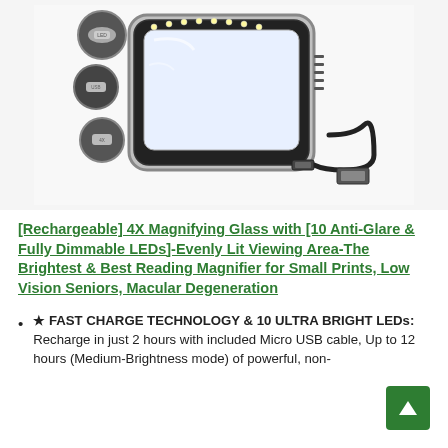[Figure (photo): Product photo of a rechargeable magnifying glass with LED lights and a USB charging cable, shown on white background with close-up detail circles.]
[Rechargeable] 4X Magnifying Glass with [10 Anti-Glare & Fully Dimmable LEDs]-Evenly Lit Viewing Area-The Brightest & Best Reading Magnifier for Small Prints, Low Vision Seniors, Macular Degeneration
★ FAST CHARGE TECHNOLOGY & 10 ULTRA BRIGHT LEDs: Recharge in just 2 hours with included Micro USB cable, Up to 12 hours (Medium-Brightness mode) of powerful, non-